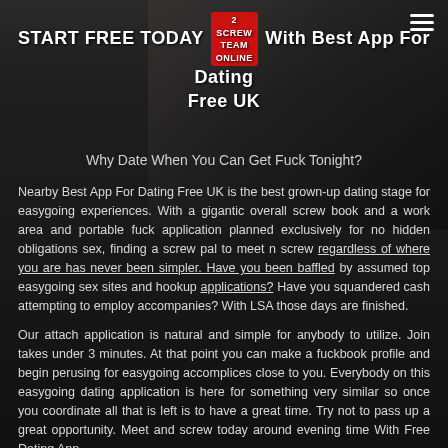START FREE TODAY With Best App For Dating Free UK
Why Date When You Can Get Fuck Tonight?
Nearby Best App For Dating Free UK is the best grown-up dating stage for easygoing experiences. With a gigantic overall screw book and a work area and portable fuck application planned exclusively for no hidden obligations sex, finding a screw pal to meet n screw regardless of where you are has never been simpler. Have you been baffled by assumed top easygoing sex sites and hookup applications? Have you squandered cash attempting to employ accompanies? With LSA those days are finished.
Our attach application is natural and simple for anybody to utilize. Join takes under 3 minutes. At that point you can make a fuckbook profile and begin perusing for easygoing accomplices close to you. Everybody on this easygoing dating application is here for something very similar so once you coordinate all that is left is to have a great time. Try not to pass up a great opportunity. Meet and screw today around evening time With Free Dating App.